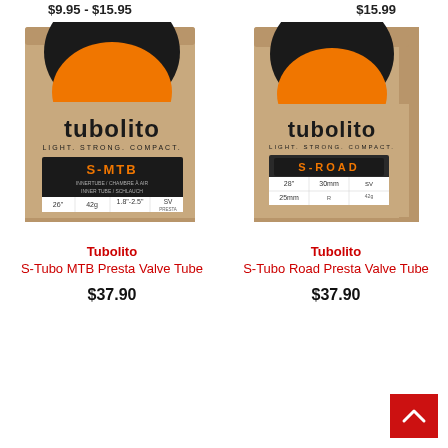$9.95 - $15.95
$15.99
[Figure (photo): Tubolito S-MTB product box with orange half-circle logo and black/white label panel showing S-MTB, 26", 42g, 1.8"-2.5", SV valve]
Tubolito
S-Tubo MTB Presta Valve Tube
$37.90
[Figure (photo): Tubolito S-Road product box with orange half-circle logo and dark label panel showing S-ROAD, 28", 30mm, 25mm]
Tubolito
S-Tubo Road Presta Valve Tube
$37.90